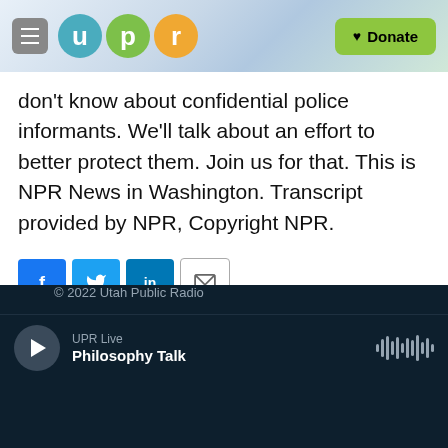[Figure (logo): UPR (Utah Public Radio) website header with hamburger menu, UPR logo circles (u, p, r), and green Donate button]
don't know about confidential police informants. We'll talk about an effort to better protect them. Join us for that. This is NPR News in Washington. Transcript provided by NPR, Copyright NPR.
[Figure (other): Social sharing buttons: Facebook (f), Twitter bird, LinkedIn (in), Email (envelope icon)]
© 2022 Utah Public Radio
UPR Live
Philosophy Talk